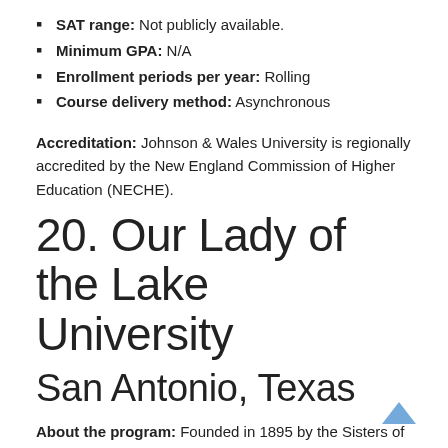SAT range: Not publicly available.
Minimum GPA: N/A
Enrollment periods per year: Rolling
Course delivery method: Asynchronous
Accreditation: Johnson & Wales University is regionally accredited by the New England Commission of Higher Education (NECHE).
20. Our Lady of the Lake University
San Antonio, Texas
About the program: Founded in 1895 by the Sisters of Divine Providence, OLLU offers a 36-credit online master's in nonprofit management that caters to